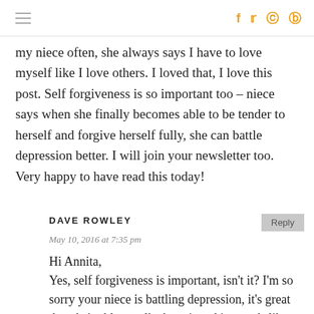≡  f  twitter  instagram  pinterest
my niece often, she always says I have to love myself like I love others. I loved that, I love this post. Self forgiveness is so important too – niece says when she finally becomes able to be tender to herself and forgive herself fully, she can battle depression better. I will join your newsletter too. Very happy to have read this today!
DAVE ROWLEY
May 10, 2016 at 7:35 pm
Hi Annita,
Yes, self forgiveness is important, isn't it? I'm so sorry your niece is battling depression, it's great that she's able to talk about it and it sounds like she has some good ideas. I'm glad she has someone like you to support her!